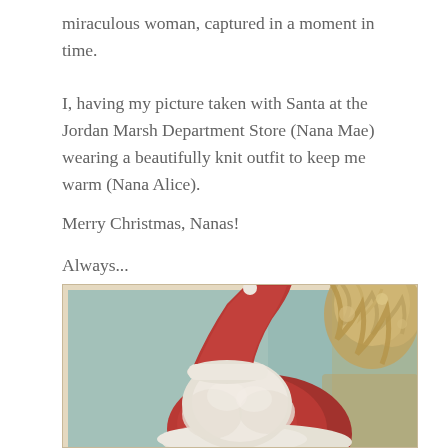miraculous woman, captured in a moment in time.
I, having my picture taken with Santa at the Jordan Marsh Department Store (Nana Mae) wearing a beautifully knit outfit to keep me warm (Nana Alice).
Merry Christmas, Nanas!
Always...
[Figure (photo): Vintage photograph showing Santa Claus with a red hat and white fur trim and beard, seated in an ornate golden chair, against a teal/mint green background. The photo has a faded, aged look with warm tones. Only the lower portion of the photo is visible.]